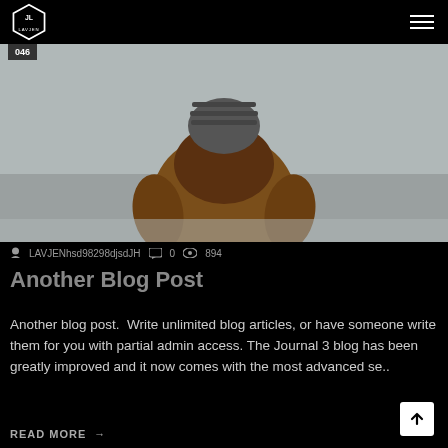LAVJEN logo and hamburger menu
[Figure (photo): Person seen from behind wearing a tan/brown hoodie jacket and grey knit beanie hat, standing in a foggy outdoor scene]
LAVJENhsd98298djsdJH  0  894
Another Blog Post
Another blog post.  Write unlimited blog articles, or have someone write them for you with partial admin access. The Journal 3 blog has been greatly improved and it now comes with the most advanced se..
READ MORE →